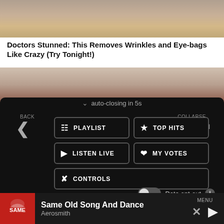[Figure (photo): Close-up skin/eye area photo — advertisement image top portion]
Doctors Stunned: This Removes Wrinkles and Eye-bags Like Crazy (Try Tonight!)
[Figure (photo): Close-up skin photo — advertisement image bottom portion]
[Figure (screenshot): Mobile app menu overlay with dark background showing PLAYLIST, TOP HITS, LISTEN LIVE, MY VOTES, CONTROLS buttons; auto-closing in 5s message; Data opt-out toggle; now playing bar showing Same Old Song And Dance by Aerosmith]
auto-closing in 5s
BACK
COLLAPSE
PLAYLIST
TOP HITS
LISTEN LIVE
MY VOTES
CONTROLS
Data opt-out
Same Old Song And Dance
Aerosmith
MENU